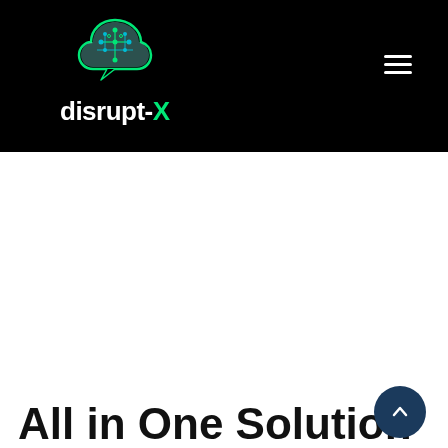disrupt-X
[Figure (logo): disrupt-X logo: brain/cloud icon in teal/green with circuit patterns, white text 'disrupt-' and green 'X']
All in One Solution